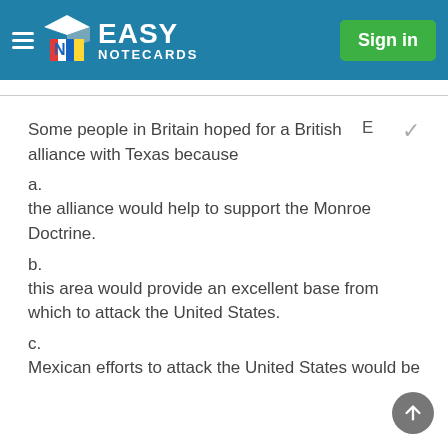EASY NOTECARDS — Sign in
Some people in Britain hoped for a British alliance with Texas because
E
a.
the alliance would help to support the Monroe Doctrine.
b.
this area would provide an excellent base from which to attack the United States.
c.
Mexican efforts to attack the United States would be